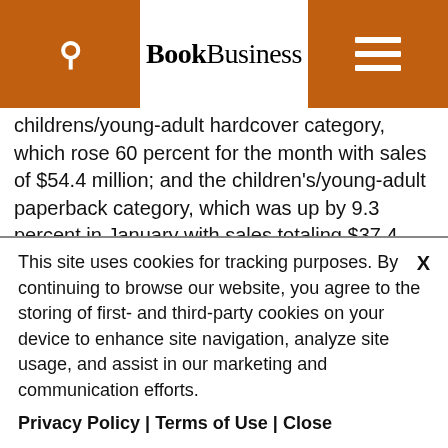BookBusiness
childrens/young-adult hardcover category, which rose 60 percent for the month with sales of $54.4 million; and the children's/young-adult paperback category, which was up by 9.3 percent in January with sales totaling $37.4 million. Additionally, sales in the professional and scholarly category increased by 2.1 percent ($48.7 million), while higher education publishing sales posted an increase of 29 percent for the month ($340.8
This site uses cookies for tracking purposes. By continuing to browse our website, you agree to the storing of first- and third-party cookies on your device to enhance site navigation, analyze site usage, and assist in our marketing and communication efforts.
Privacy Policy | Terms of Use | Close